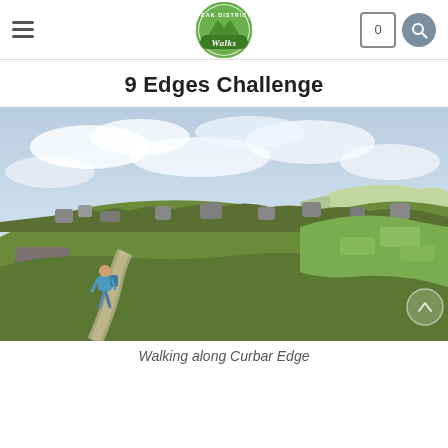Peak District Walks — navigation header with hamburger menu, logo, cart (0), and search
9 Edges Challenge
[Figure (photo): Landscape photograph of a hiker walking along Curbar Edge in the Peak District, with rocky outcrops, green moorland, and a valley vista under a cloudy sky.]
Walking along Curbar Edge